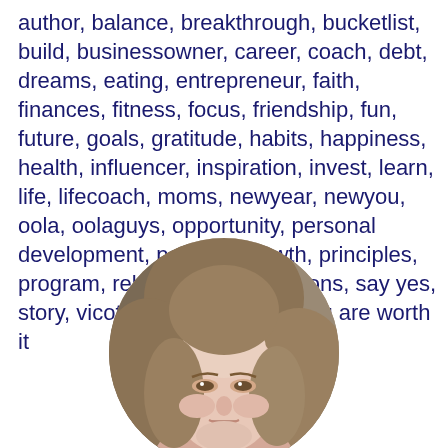author, balance, breakthrough, bucketlist, build, businessowner, career, coach, debt, dreams, eating, entrepreneur, faith, finances, fitness, focus, friendship, fun, future, goals, gratitude, habits, happiness, health, influencer, inspiration, invest, learn, life, lifecoach, moms, newyear, newyou, oola, oolaguys, opportunity, personal development, personalgrowth, principles, program, relationship, resolutions, say yes, story, vicotory, wealth, work, you are worth it
[Figure (photo): Circular cropped portrait photo of a woman with shoulder-length blonde/brown hair, visible from approximately chin to top of head, with a neutral/slight smile expression.]